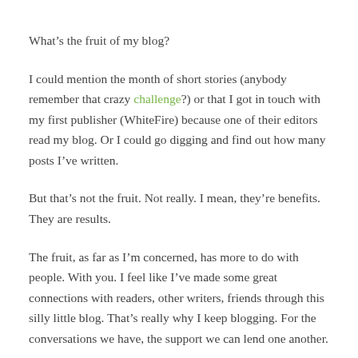What’s the fruit of my blog?
I could mention the month of short stories (anybody remember that crazy challenge?) or that I got in touch with my first publisher (WhiteFire) because one of their editors read my blog. Or I could go digging and find out how many posts I’ve written.
But that’s not the fruit. Not really. I mean, they’re benefits. They are results.
The fruit, as far as I’m concerned, has more to do with people. With you. I feel like I’ve made some great connections with readers, other writers, friends through this silly little blog. That’s really why I keep blogging. For the conversations we have, the support we can lend one another.
My next blog post is going to be called “That is just the...